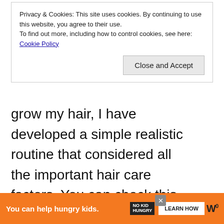Privacy & Cookies: This site uses cookies. By continuing to use this website, you agree to their use.
To find out more, including how to control cookies, see here: Cookie Policy
Close and Accept
grow my hair, I have developed a simple realistic routine that considered all the important hair care factors. You can check this detailed guide on how to grow 4C hair to learn more about natural 4C hair care.
Did you find the article useful? What is you view on leaving rice water overnight? Leave y...elow.
You can help hungry kids. NO KID HUNGRY LEARN HOW